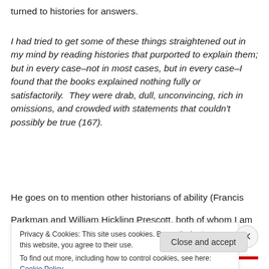turned to histories for answers.
I had tried to get some of these things straightened out in my mind by reading histories that purported to explain them; but in every case–not in most cases, but in every case–I found that the books explained nothing fully or satisfactorily.  They were drab, dull, unconvincing, rich in omissions, and crowded with statements that couldn't possibly be true (167).
He goes on to mention other historians of ability (Francis Parkman and William Hickling Prescott, both of whom I am
Privacy & Cookies: This site uses cookies. By continuing to use this website, you agree to their use.
To find out more, including how to control cookies, see here: Cookie Policy
Close and accept